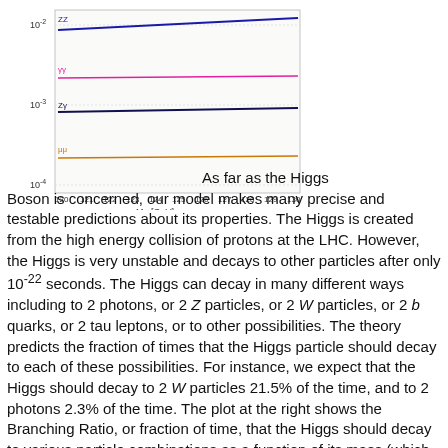[Figure (continuous-plot): Higgs boson branching ratios vs M_H [GeV] from 120 to 130 GeV. Shows lines for ZZ, γγ, Zγ, and μμ decay modes on a log scale from 10^-4 to 10^-2. ZZ is near top, γγ is a pink/magenta line, Zγ is dark navy, μμ is orange at bottom.]
As far as the Higgs Boson is concerned, our model makes many precise and testable predictions about its properties. The Higgs is created from the high energy collision of protons at the LHC. However, the Higgs is very unstable and decays to other particles after only 10^-22 seconds. The Higgs can decay in many different ways including to 2 photons, or 2 Z particles, or 2 W particles, or 2 b quarks, or 2 tau leptons, or to other possibilities. The theory predicts the fraction of times that the Higgs particle should decay to each of these possibilities. For instance, we expect that the Higgs should decay to 2 W particles 21.5% of the time, and to 2 photons 2.3% of the time. The plot at the right shows the Branching Ratio, or fraction of time, that the Higgs should decay to various particle combinations as a function of its mass (which is